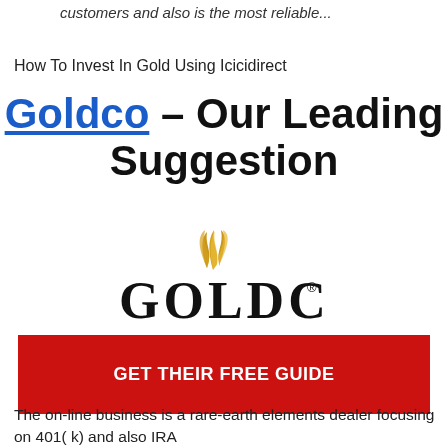customers and also is the most reliable...
How To Invest In Gold Using Icicidirect
Goldco – Our Leading Suggestion
[Figure (logo): Goldco logo with golden flame/swirl above text reading GOLDCO with a registered trademark symbol]
GET THEIR FREE GUIDE
The on-line business is a rare-earth elements dealer focusing on 401( k) and also IRA